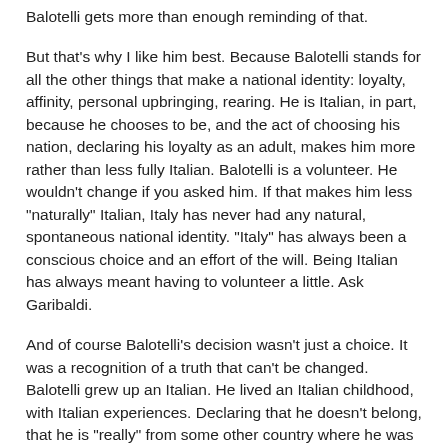Balotelli gets more than enough reminding of that.
But that's why I like him best. Because Balotelli stands for all the other things that make a national identity: loyalty, affinity, personal upbringing, rearing. He is Italian, in part, because he chooses to be, and the act of choosing his nation, declaring his loyalty as an adult, makes him more rather than less fully Italian. Balotelli is a volunteer. He wouldn't change if you asked him. If that makes him less "naturally" Italian, Italy has never had any natural, spontaneous national identity. "Italy" has always been a conscious choice and an effort of the will. Being Italian has always meant having to volunteer a little. Ask Garibaldi.
And of course Balotelli's decision wasn't just a choice. It was a recognition of a truth that can't be changed. Balotelli grew up an Italian. He lived an Italian childhood, with Italian experiences. Declaring that he doesn't belong, that he is "really" from some other country where he was not born or raised, does not give Balotelli another history or another childhood. He is who he is. And when he goes to Britain to play for his club team, he's a black Italian in the UK. There's